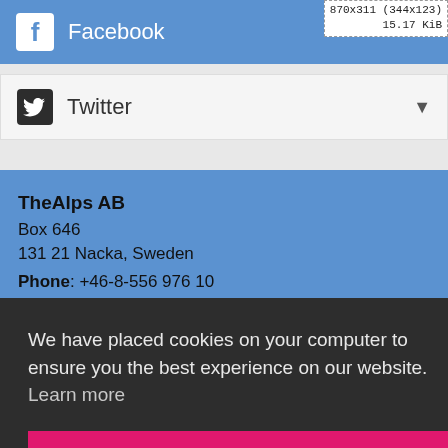[Figure (screenshot): Facebook social media bar with blue background, Facebook logo icon and label, with image info overlay showing '870x311 (344x123) 15.17 KiB']
[Figure (screenshot): Twitter social media bar with light grey background, Twitter bird icon, 'Twitter' label, and dropdown arrow]
TheAlps AB
Box 646
131 21 Nacka, Sweden
Phone: +46-8-556 976 10
Mobile: +46-785-77-12-85 (Sweden)
We have placed cookies on your computer to ensure you the best experience on our website. Learn more
Got it!